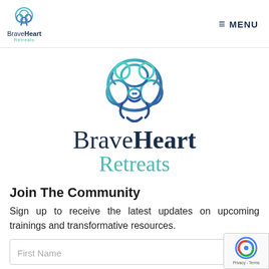BraveHeart Retreats — navigation header with logo and MENU
[Figure (logo): BraveHeart Retreats lion/brain logo — large centered version with teal-to-blue gradient]
BraveHeart Retreats
Join The Community
Sign up to receive the latest updates on upcoming trainings and transformative resources.
First Name